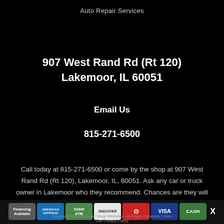Auto Repair Services
907 West Rand Rd (Rt 120)
Lakemoor, IL 60051
Email Us
815-271-6500
Call today at 815-271-6500 or come by the shop at 907 West Rand Rd (Rt 120), Lakemoor, IL, 60051. Ask any car or truck owner in Lakemoor who they recommend. Chances are they will tell you State Road Auto Repair.
[Figure (infographic): Payment method badges: Financing Available, American Express, Debit/ATM, Discover, Mastercard, Visa, Cash]
TAP TO CALL NOW
815-271-6500
Copyright © 2022 Repair Shop Websites. All Rights Reserved | View Our Privacy Policy